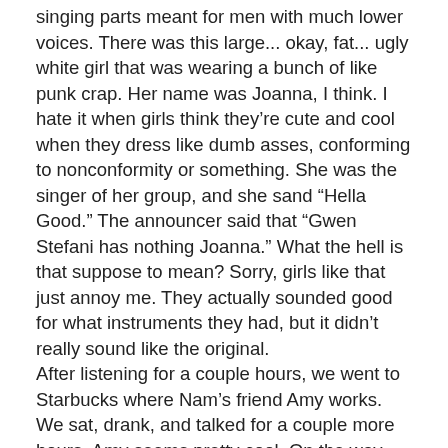singing parts meant for men with much lower voices. There was this large... okay, fat... ugly white girl that was wearing a bunch of like punk crap. Her name was Joanna, I think. I hate it when girls think they're cute and cool when they dress like dumb asses, conforming to nonconformity or something. She was the singer of her group, and she sand “Hella Good.” The announcer said that “Gwen Stefani has nothing Joanna.” What the hell is that suppose to mean? Sorry, girls like that just annoy me. They actually sounded good for what instruments they had, but it didn’t really sound like the original.
After listening for a couple hours, we went to Starbucks where Nam’s friend Amy works. We sat, drank, and talked for a couple more hours. Amy seems pretty cool. On the way home, we stopped by Taco Bell. Then, Linh-Nam watched some tv at my house until a little past 11.
Oh, and I almost forgot. While on the freeway, a car stopped in front of us due to traffic. Linh-Nam slammed on the brakes but still hit her. It wasn’t a big collision or anything. The two